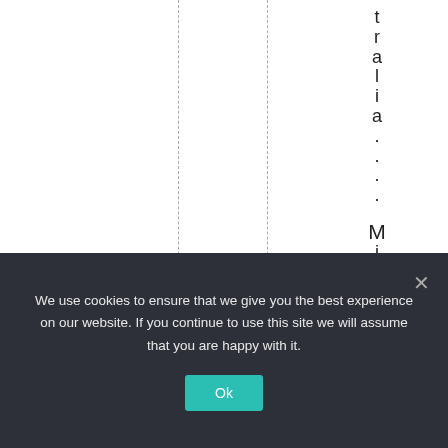tralia... Mindyou, w
We use cookies to ensure that we give you the best experience on our website. If you continue to use this site we will assume that you are happy with it.